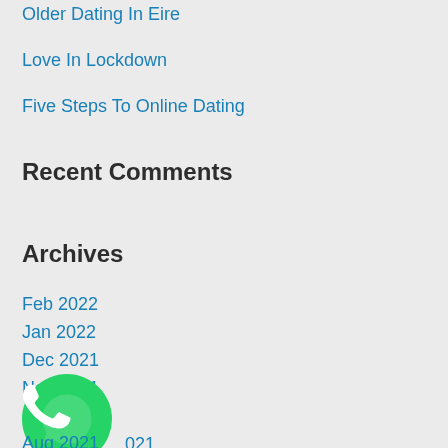Older Dating In Eire
Love In Lockdown
Five Steps To Online Dating
Recent Comments
Archives
Feb 2022
Jan 2022
Dec 2021
Nov 2021
Oct 2021
.021
Aug 2021
[Figure (illustration): WhatsApp icon - green circle with white phone handset]